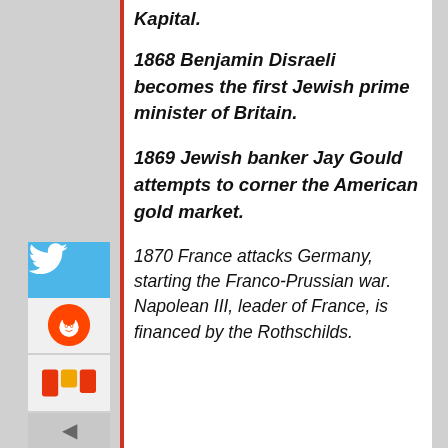Kapital.
1868 Benjamin Disraeli becomes the first Jewish prime minister of Britain.
1869 Jewish banker Jay Gould attempts to corner the American gold market.
1870 France attacks Germany, starting the Franco-Prussian war. Napolean III, leader of France, is financed by the Rothschilds.